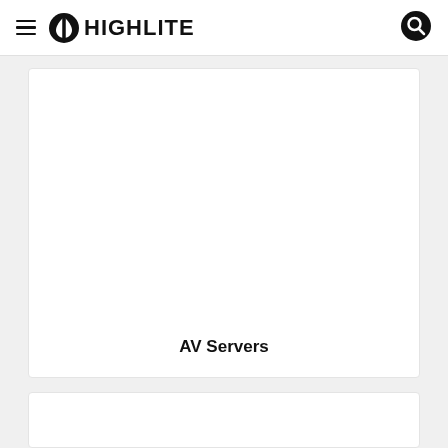HIGHLITE
[Figure (other): Product card placeholder image area (white/blank) for AV Servers category]
AV Servers
[Figure (other): Second product card placeholder (partially visible at bottom of page)]